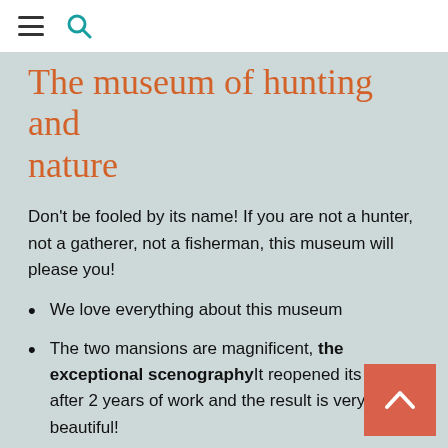≡ 🔍
The museum of hunting and nature
Don't be fooled by its name! If you are not a hunter, not a gatherer, not a fisherman, this museum will please you!
We love everything about this museum
The two mansions are magnificent, the exceptional scenographyIt reopened its doors after 2 years of work and the result is very beautiful!
The woodwork, parquet floors and ironwork are superb